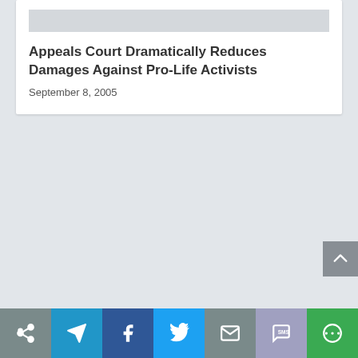[Figure (other): Gray placeholder image strip at top of article card]
Appeals Court Dramatically Reduces Damages Against Pro-Life Activists
September 8, 2005
[Figure (other): Gray back-to-top button with upward chevron arrow, positioned at right edge]
[Figure (other): Social share bar with buttons: Share (native), Telegram, Facebook, Twitter, Email, SMS, More]